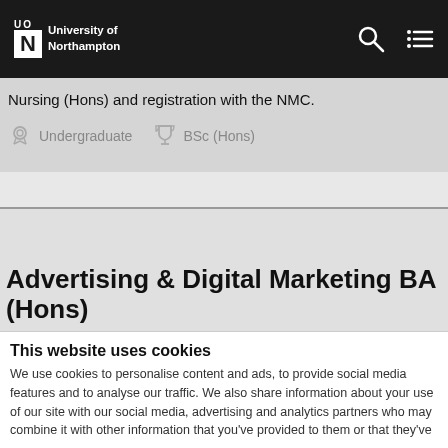University of Northampton
Nursing (Hons) and registration with the NMC.
Undergraduate   BSc (Hons)
Advertising & Digital Marketing BA (Hons)
Advertising & Digital Marketing BA (Hons) teaches you the fundamentals of Digital Marketing and gives you real experiences
This website uses cookies
We use cookies to personalise content and ads, to provide social media features and to analyse our traffic. We also share information about your use of our site with our social media, advertising and analytics partners who may combine it with other information that you've provided to them or that they've